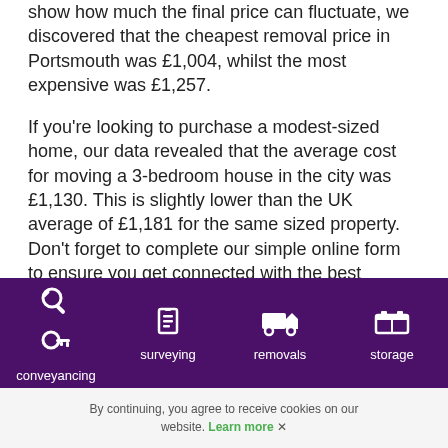show how much the final price can fluctuate, we discovered that the cheapest removal price in Portsmouth was £1,004, whilst the most expensive was £1,257.
If you're looking to purchase a modest-sized home, our data revealed that the average cost for moving a 3-bedroom house in the city was £1,130. This is slightly lower than the UK average of £1,181 for the same sized property. Don't forget to complete our simple online form to ensure you get connected with the best removal companies in the business.
[Figure (other): Green rounded button (partially visible)]
conveyancing | surveying | removals | storage
By continuing, you agree to receive cookies on our website. Learn more ✕